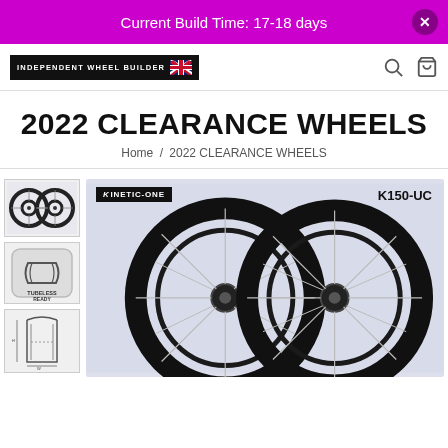Current Build Time: 17-18 days
[Figure (logo): Independent Wheel Builder logo with UK flag]
2022 CLEARANCE WHEELS
Home / 2022 CLEARANCE WHEELS
[Figure (photo): Product thumbnail: two black carbon bicycle wheels]
[Figure (illustration): Tubeless Ready badge icon]
[Figure (illustration): Wheel cross-section/dimension diagram]
[Figure (photo): Main product image: KINETIC-ONE K150-UC carbon bicycle wheelset on light background]